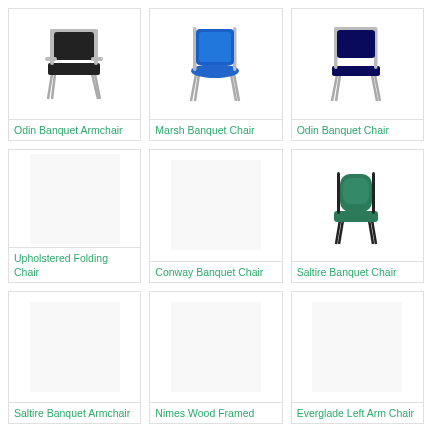[Figure (photo): Odin Banquet Armchair - black upholstered chair with silver metal frame]
Odin Banquet Armchair
[Figure (photo): Marsh Banquet Chair - blue upholstered chair with chrome legs]
Marsh Banquet Chair
[Figure (photo): Odin Banquet Chair - dark blue seat with chrome frame]
Odin Banquet Chair
[Figure (photo): Upholstered Folding Chair - empty white image placeholder]
Upholstered Folding Chair
[Figure (photo): Conway Banquet Chair - empty white image placeholder]
Conway Banquet Chair
[Figure (photo): Saltire Banquet Chair - dark green upholstered chair with black metal frame]
Saltire Banquet Chair
[Figure (photo): Saltire Banquet Armchair - empty white image placeholder]
Saltire Banquet Armchair
[Figure (photo): Nimes Wood Framed - empty white image placeholder]
Nimes Wood Framed
[Figure (photo): Everglade Left Arm Chair - empty white image placeholder]
Everglade Left Arm Chair